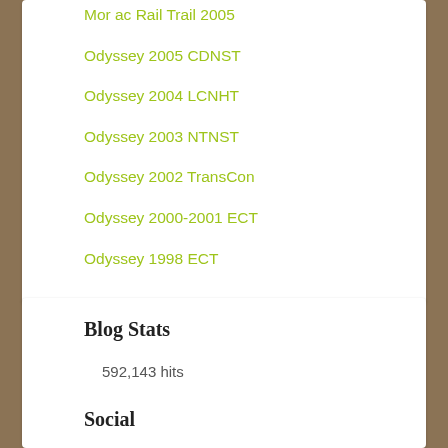Mor ac Rail Trail 2005
Odyssey 2005 CDNST
Odyssey 2004 LCNHT
Odyssey 2003 NTNST
Odyssey 2002 TransCon
Odyssey 2000-2001 ECT
Odyssey 1998 ECT
Blog Stats
592,143 hits
Social